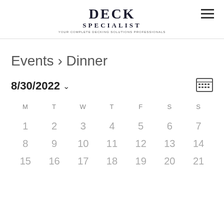DECK SPECIALIST
Events › Dinner
8/30/2022
| M | T | W | T | F | S | S |
| --- | --- | --- | --- | --- | --- | --- |
| 1 | 2 | 3 | 4 | 5 | 6 | 7 |
| 8 | 9 | 10 | 11 | 12 | 13 | 14 |
| 15 | 16 | 17 | 18 | 19 | 20 | 21 |